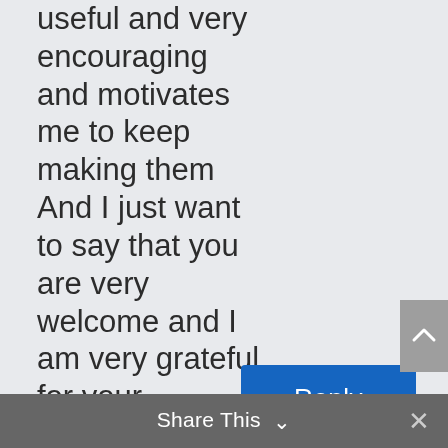useful and very encouraging and motivates me to keep making them And I just want to say that you are very welcome and I am very grateful for your support!
[Figure (other): Blue 'Reply' button]
[Figure (other): Grey scroll-to-top arrow button on right side]
Share This ∨  ×